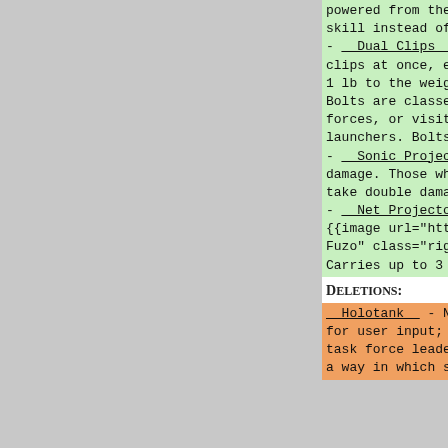powered from the gun which fires bolts, g skill instead of Throw, range of 12/24/48 - __Dual Clips__ - costs N$50 to retrofit clips at once, each using a different typ 1 lb to the weight (when loaded). Bolts are classed as heavy weapons, so yo forces, or visit a weapons dealer to get l launchers. Bolts can be adapted as hand g - __Sonic Projector__ - 2d6 nonlethal dam damage. Those who have had the misfortune take double damage. Weighs 4 lbs. - __Net Projector__ - Targets are affecte {{image url="http://lynx.purrsia.com/~lyn Fuzo" class="right"}}__Compact Aircar__ - Carries up to 3 people, or 2 people____ p
Deletions:
__Holotank__ - N$100. A large surface for for user input; it automatically recognize task force leaders to share maps with the a way in which sports and wargames can